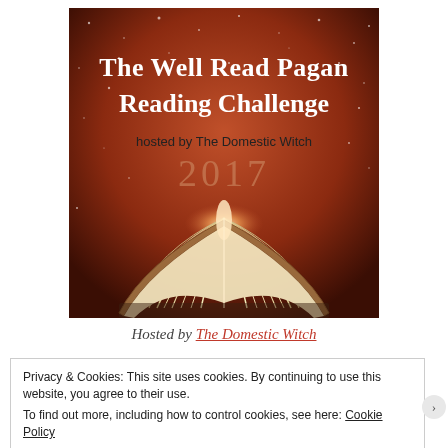[Figure (illustration): Book reading challenge promotional image with dark reddish-brown background with sparkles, an open book in the lower half, and text: 'The Well Read Pagan Reading Challenge hosted by The Domestic Witch 2017']
Hosted by The Domestic Witch
Privacy & Cookies: This site uses cookies. By continuing to use this website, you agree to their use.
To find out more, including how to control cookies, see here: Cookie Policy
Close and accept